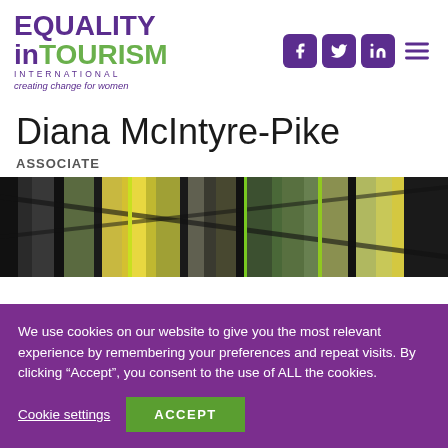[Figure (logo): Equality in Tourism International logo with tagline 'creating change for women' in purple and green]
[Figure (infographic): Social media icons for Facebook, Twitter, LinkedIn, and a hamburger menu in purple rounded squares]
Diana McIntyre-Pike
ASSOCIATE
[Figure (photo): Photo of colorful bags/luggage straps in green, yellow and black]
We use cookies on our website to give you the most relevant experience by remembering your preferences and repeat visits. By clicking “Accept”, you consent to the use of ALL the cookies.
Cookie settings
ACCEPT